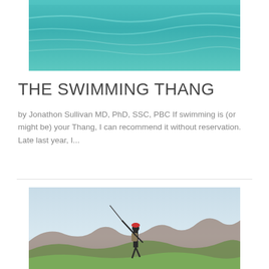[Figure (photo): Aerial/overhead view of turquoise ocean water with gentle wave patterns, cropped at top]
THE SWIMMING THANG
by Jonathon Sullivan MD, PhD, SSC, PBC If swimming is (or might be) your Thang, I can recommend it without reservation. Late last year, I...
[Figure (photo): Person with red hat and backpack holding a hiking pole raised toward the sky, standing on a hillside overlooking a scenic mountain and green valley landscape]